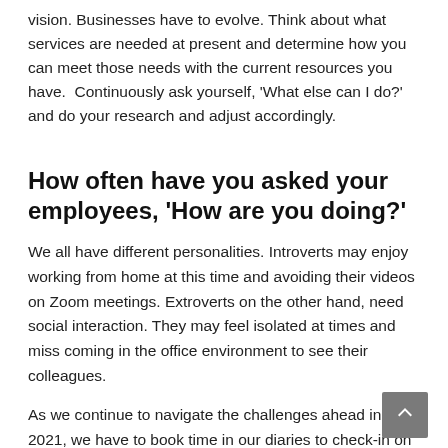vision. Businesses have to evolve. Think about what services are needed at present and determine how you can meet those needs with the current resources you have.  Continuously ask yourself, 'What else can I do?' and do your research and adjust accordingly.
How often have you asked your employees, 'How are you doing?'
We all have different personalities. Introverts may enjoy working from home at this time and avoiding their videos on Zoom meetings. Extroverts on the other hand, need social interaction. They may feel isolated at times and miss coming in the office environment to see their colleagues.
As we continue to navigate the challenges ahead in 2021, we have to book time in our diaries to check-in on those who work for us. Exploring ways to continuously keep our employees engaged in our business during this challenging period is important. As an owner, ask yourself, 'How can I better understand the challenges